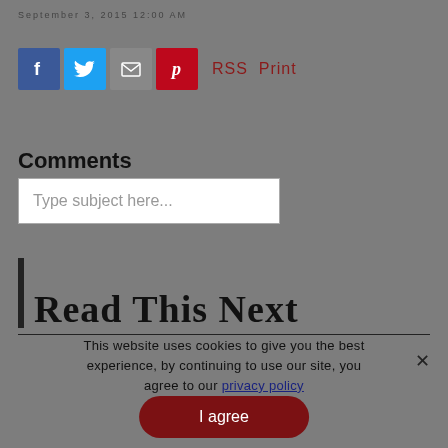September 3, 2015 12:00 AM
[Figure (other): Social sharing icons: Facebook (blue), Twitter (light blue), Email (gray), Pinterest (red), followed by RSS and Print text links]
Comments
Type subject here...
Read This Next
This website uses cookies to give you the best experience, by continuing to use our site, you agree to our privacy policy
I agree